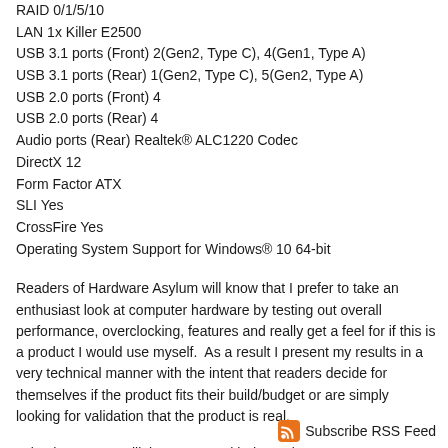RAID 0/1/5/10
LAN 1x Killer E2500
USB 3.1 ports (Front) 2(Gen2, Type C), 4(Gen1, Type A)
USB 3.1 ports (Rear) 1(Gen2, Type C), 5(Gen2, Type A)
USB 2.0 ports (Front) 4
USB 2.0 ports (Rear) 4
Audio ports (Rear) Realtek® ALC1220 Codec
DirectX 12
Form Factor ATX
SLI Yes
CrossFire Yes
Operating System Support for Windows® 10 64-bit
Readers of Hardware Asylum will know that I prefer to take an enthusiast look at computer hardware by testing out overall performance, overclocking, features and really get a feel for if this is a product I would use myself.  As a result I present my results in a very technical manner with the intent that readers decide for themselves if the product fits their build/budget or are simply looking for validation that the product is real.
Take that as you will, let's get on with the review.
Subscribe RSS Feed